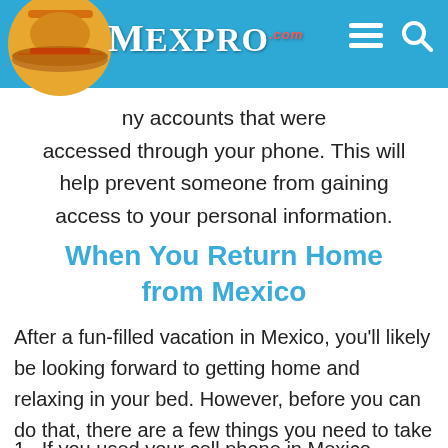Mexpro.com
any accounts that were accessed through your phone. This will help prevent someone from gaining access to your personal information.
When You Return Home from Mexico
After a fun-filled vacation in Mexico, you'll likely be looking forward to getting home and relaxing in your bed. However, before you can do that, there are a few things you need to take care of.
1.  If you used your cell phone in Mexico